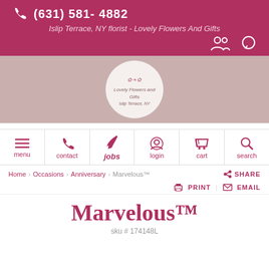(631) 581-4882
Islip Terrace, NY florist - Lovely Flowers And Gifts
[Figure (logo): Circular logo for Lovely Flowers and Gifts, Islip Terrace, NY on a mauve background banner]
menu
contact
jobs
login
cart
search
Home  Occasions  Anniversary  Marvelous™  SHARE
PRINT  EMAIL
Marvelous™
sku # 174148L